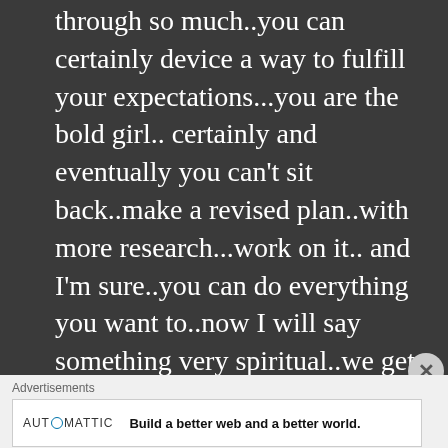through so much..you can certainly device a way to fulfill your expectations...you are the bold girl.. certainly and eventually you can't sit back..make a revised plan..with more research...work on it.. and I'm sure..you can do everything you want to..now I will say something very spiritual..we get one life..do everything you want to.. because you have the ability..and ofcourse the mindset for doing so..
Advertisements
[Figure (other): Automattic advertisement banner: 'Build a better web and a better world.']